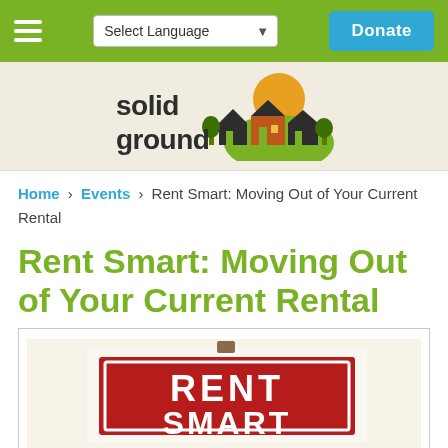≡  Select Language  Donate
[Figure (logo): Solid Ground logo with stylized house silhouettes and orange sun]
Home › Events › Rent Smart: Moving Out of Your Current Rental
Rent Smart: Moving Out of Your Current Rental
[Figure (illustration): Rent Smart sign illustration showing a red real estate-style sign with white bold text reading RENT SMART, held up with a clip, on a light background]